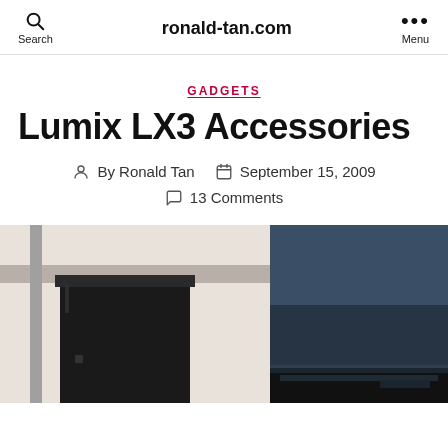Search   ronald-tan.com   Menu
GADGETS
Lumix LX3 Accessories
By Ronald Tan   September 15, 2009
13 Comments
[Figure (photo): Two photos side by side: left shows black electronic equipment on a shelf/desk with light background; right shows a dark blue/grey device or screen close-up.]